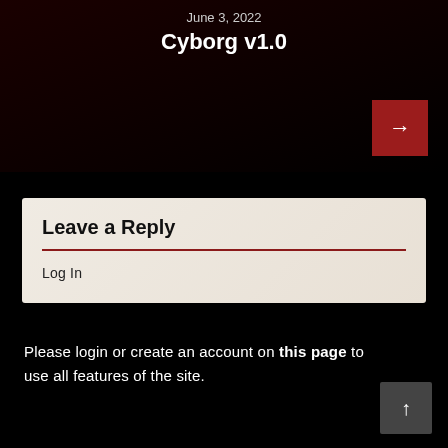June 3, 2022
Cyborg v1.0
Leave a Reply
Log In
Please login or create an account on this page to use all features of the site.